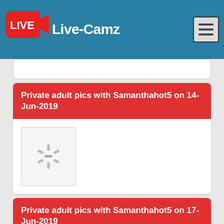Live-Camz
Private adult pics with Samanthahot5 on 14-Jun-2019
[Figure (photo): Loading spinner placeholder image for Samanthahot5 14-Jun-2019]
Private adult pics with Samanthahot5 on 17-Jun-2019
[Figure (photo): Loading spinner placeholder image for Samanthahot5 17-Jun-2019]